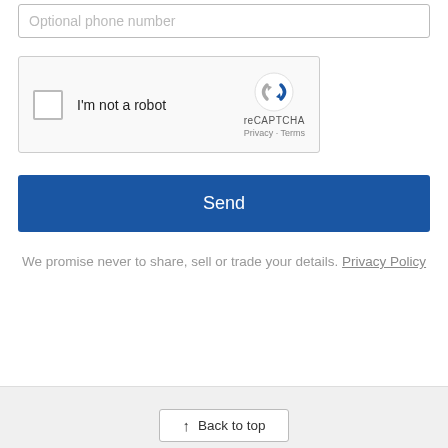Optional phone number
[Figure (other): reCAPTCHA widget with checkbox labeled 'I'm not a robot', reCAPTCHA logo, and Privacy · Terms links]
Send
We promise never to share, sell or trade your details. Privacy Policy
Back to top